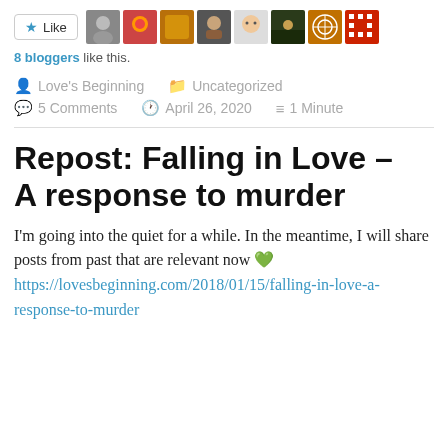[Figure (other): Like button with star icon and 8 blogger avatar thumbnails]
8 bloggers like this.
Love's Beginning   Uncategorized   5 Comments   April 26, 2020   1 Minute
Repost: Falling in Love – A response to murder
I'm going into the quiet for a while. In the meantime, I will share posts from past that are relevant now 💚 https://lovesbeginning.com/2018/01/15/falling-in-love-a-response-to-murder